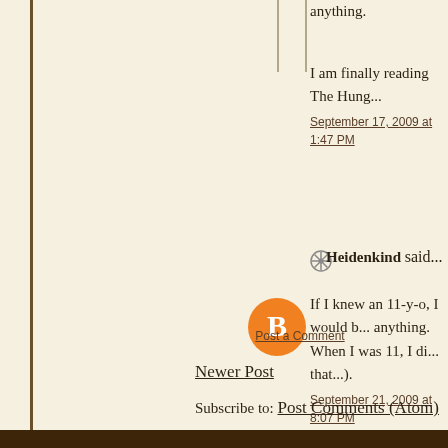anything.
I am finally reading The Hung...
September 17, 2009 at 1:47 PM
Heidenkind said...
If I knew an 11-y-o, I would b... anything. When I was 11, I di... that...).
September 21, 2009 at 8:07 PM
Post a Comment
Newer Post
Subscribe to: Post Comments (Atom)